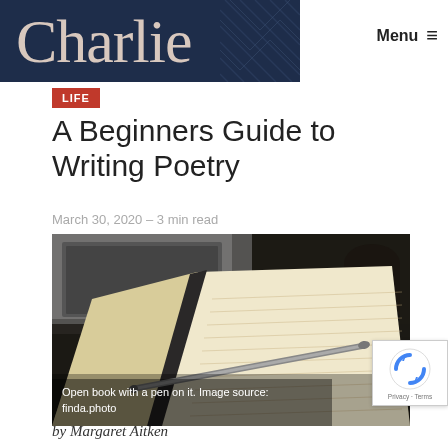Charlie — Menu
Life
A Beginners Guide to Writing Poetry
March 30, 2020 – 3 min read
[Figure (photo): Open book with a pen on it, on a dark table with a laptop in the background. Caption: Open book with a pen on it. Image source: finda.photo]
Open book with a pen on it. Image source: finda.photo
by Margaret Aitken